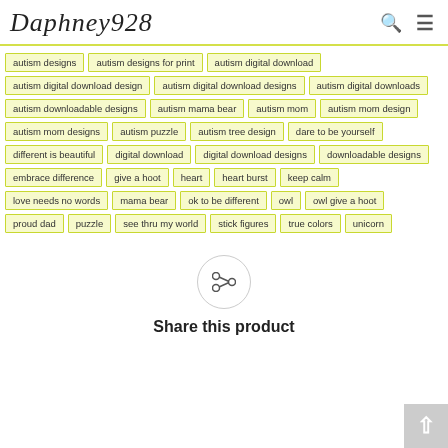Daphney928
autism designs
autism designs for print
autism digital download
autism digital download design
autism digital download designs
autism digital downloads
autism downloadable designs
autism mama bear
autism mom
autism mom design
autism mom designs
autism puzzle
autism tree design
dare to be yourself
different is beautiful
digital download
digital download designs
downloadable designs
embrace difference
give a hoot
heart
heart burst
keep calm
love needs no words
mama bear
ok to be different
owl
owl give a hoot
proud dad
puzzle
see thru my world
stick figures
true colors
unicorn
Share this product